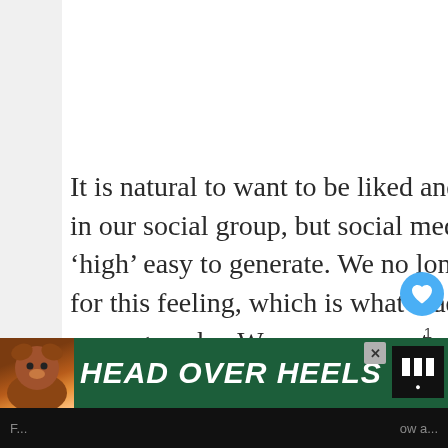It is natural to want to be liked and to feel important in our social group, but social media has made this ‘high’ easy to generate. We no longer have to work for this feeling, which is what made it satisfying in years gone by. We can now post a picture of our cat or night out and feel like a celebrity, which is the addicting (and dangerous) part.
3) Extreme procrastination
[Figure (screenshot): Ad banner at bottom reading HEAD OVER HEELS with a dog image on green background]
F... ow a...